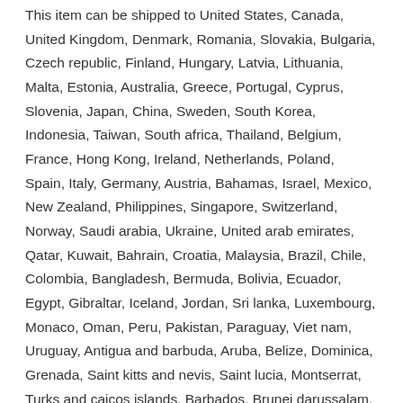This item can be shipped to United States, Canada, United Kingdom, Denmark, Romania, Slovakia, Bulgaria, Czech republic, Finland, Hungary, Latvia, Lithuania, Malta, Estonia, Australia, Greece, Portugal, Cyprus, Slovenia, Japan, China, Sweden, South Korea, Indonesia, Taiwan, South africa, Thailand, Belgium, France, Hong Kong, Ireland, Netherlands, Poland, Spain, Italy, Germany, Austria, Bahamas, Israel, Mexico, New Zealand, Philippines, Singapore, Switzerland, Norway, Saudi arabia, Ukraine, United arab emirates, Qatar, Kuwait, Bahrain, Croatia, Malaysia, Brazil, Chile, Colombia, Bangladesh, Bermuda, Bolivia, Ecuador, Egypt, Gibraltar, Iceland, Jordan, Sri lanka, Luxembourg, Monaco, Oman, Peru, Pakistan, Paraguay, Viet nam, Uruguay, Antigua and barbuda, Aruba, Belize, Dominica, Grenada, Saint kitts and nevis, Saint lucia, Montserrat, Turks and caicos islands, Barbados, Brunei darussalam, French guiana, Guernsey, Guadeloupe, Jersey, Cayman islands,